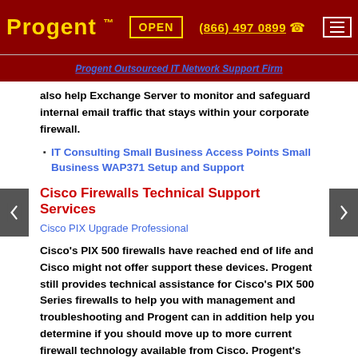Progent™  OPEN  (866) 497 0899  ☎
Progent Outsourced IT Network Support Firm
also help Exchange Server to monitor and safeguard internal email traffic that stays within your corporate firewall.
IT Consulting Small Business Access Points Small Business WAP371 Setup and Support
Cisco Firewalls Technical Support Services
Cisco PIX Upgrade Professional
Cisco's PIX 500 firewalls have reached end of life and Cisco might not offer support these devices. Progent still provides technical assistance for Cisco's PIX 500 Series firewalls to help you with management and troubleshooting and Progent can in addition help you determine if you should move up to more current firewall technology available from Cisco. Progent's Cisco technology specialists can help your